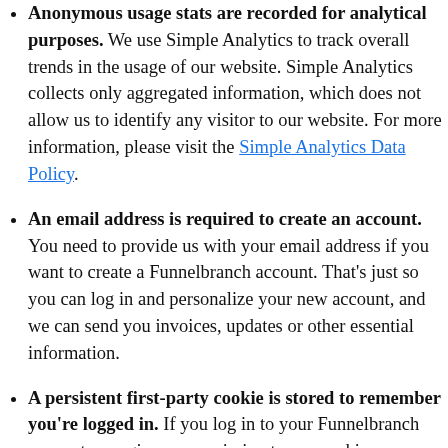Anonymous usage stats are recorded for analytical purposes. We use Simple Analytics to track overall trends in the usage of our website. Simple Analytics collects only aggregated information, which does not allow us to identify any visitor to our website. For more information, please visit the Simple Analytics Data Policy.
An email address is required to create an account. You need to provide us with your email address if you want to create a Funnelbranch account. That's just so you can log in and personalize your new account, and we can send you invoices, updates or other essential information.
A persistent first-party cookie is stored to remember you're logged in. If you log in to your Funnelbranch account, you give us permission to use cookies so you don't have to log in on each returning session. This